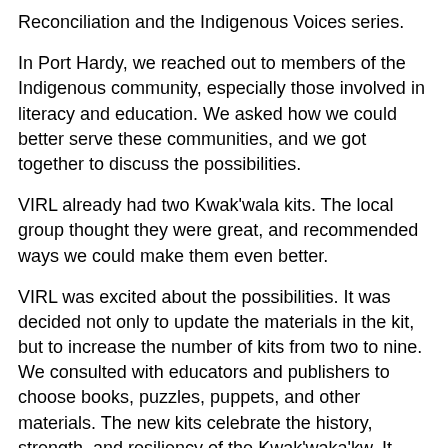Reconciliation and the Indigenous Voices series.
In Port Hardy, we reached out to members of the Indigenous community, especially those involved in literacy and education. We asked how we could better serve these communities, and we got together to discuss the possibilities.
VIRL already had two Kwak'wala kits. The local group thought they were great, and recommended ways we could make them even better.
VIRL was excited about the possibilities. It was decided not only to update the materials in the kit, but to increase the number of kits from two to nine. We consulted with educators and publishers to choose books, puzzles, puppets, and other materials. The new kits celebrate the history, strength, and resiliency of the Kwak'waka'kw. It also walks the path of reconciliation, teaching about the Residential School System, the trauma it caused, and the healing that continues.